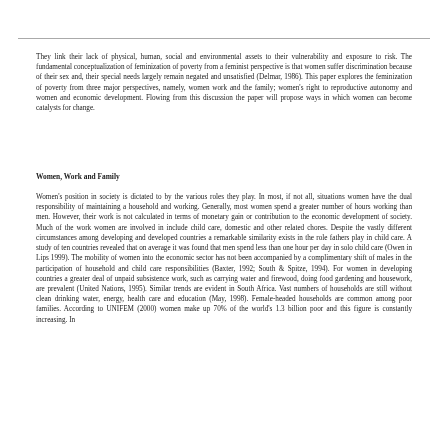They link their lack of physical, human, social and environmental assets to their vulnerability and exposure to risk. The fundamental conceptualization of feminization of poverty from a feminist perspective is that women suffer discrimination because of their sex and, their special needs largely remain negated and unsatisfied (Delmar, 1986). This paper explores the feminization of poverty from three major perspectives, namely, women work and the family; women's right to reproductive autonomy and women and economic development. Flowing from this discussion the paper will propose ways in which women can become catalysts for change.
Women, Work and Family
Women's position in society is dictated to by the various roles they play. In most, if not all, situations women have the dual responsibility of maintaining a household and working. Generally, most women spend a greater number of hours working than men. However, their work is not calculated in terms of monetary gain or contribution to the economic development of society. Much of the work women are involved in include child care, domestic and other related chores. Despite the vastly different circumstances among developing and developed countries a remarkable similarity exists in the role fathers play in child care. A study of ten countries revealed that on average it was found that men spend less than one hour per day in solo child care (Owen in Lips 1999). The mobility of women into the economic sector has not been accompanied by a complimentary shift of males in the participation of household and child care responsibilities (Baxter, 1992; South & Spitze, 1994). For women in developing countries a greater deal of unpaid subsistence work, such as carrying water and firewood, doing food gardening and housework, are prevalent (United Nations, 1995). Similar trends are evident in South Africa. Vast numbers of households are still without clean drinking water, energy, health care and education (May, 1998). Female-headed households are common among poor families. According to UNIFEM (2000) women make up 70% of the world's 1.3 billion poor and this figure is constantly increasing. In